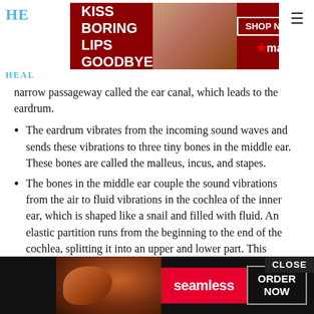HE HEAL
[Figure (photo): Advertisement banner: KISS BORING LIPS GOODBYE with woman's face, SHOP NOW button and Macy's star logo on dark red background]
narrow passageway called the ear canal, which leads to the eardrum.
The eardrum vibrates from the incoming sound waves and sends these vibrations to three tiny bones in the middle ear. These bones are called the malleus, incus, and stapes.
The bones in the middle ear couple the sound vibrations from the air to fluid vibrations in the cochlea of the inner ear, which is shaped like a snail and filled with fluid. An elastic partition runs from the beginning to the end of the cochlea, splitting it into an upper and lower part. This partition is called the basilar membrane because it serves as the base, or ground floor, on which key hearing structures sit.
On... lea to
[Figure (photo): Advertisement banner: Seamless food delivery with pizza image, ORDER NOW button on dark background with CLOSE button]